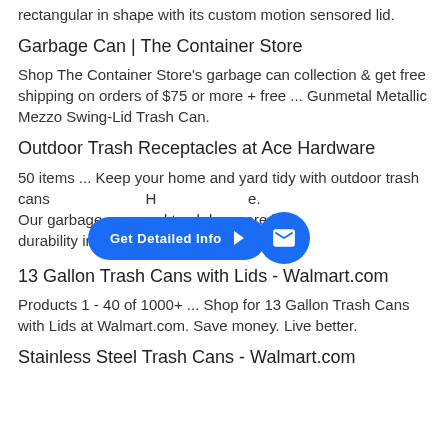rectangular in shape with its custom motion sensored lid.
Garbage Can | The Container Store
Shop The Container Store's garbage can collection & get free shipping on orders of $75 or more + free ... Gunmetal Metallic Mezzo Swing-Lid Trash Can.
Outdoor Trash Receptacles at Ace Hardware
50 items ... Keep your home and yard tidy with outdoor trash cans ... He... Our garbage cans and trash bags are built with durability in mind.
13 Gallon Trash Cans with Lids - Walmart.com
Products 1 - 40 of 1000+ ... Shop for 13 Gallon Trash Cans with Lids at Walmart.com. Save money. Live better.
Stainless Steel Trash Cans - Walmart.com